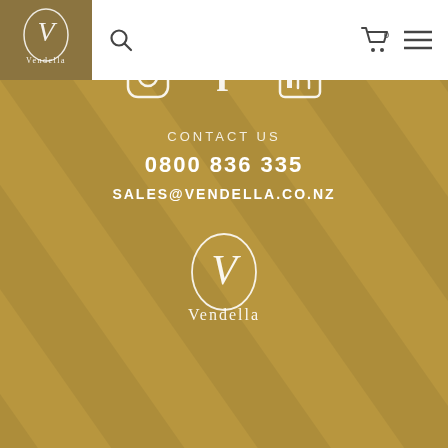[Figure (logo): Vendella logo in white on gold/brown background in header]
[Figure (infographic): Website header navigation with search icon, cart with 0 items, and hamburger menu]
[Figure (infographic): Gold background footer section with diagonal stripe pattern]
[Figure (infographic): Social media icons: Instagram, Facebook, LinkedIn in white on gold background]
CONTACT US
0800 836 335
SALES@VENDELLA.CO.NZ
[Figure (logo): Vendella logo in white on gold background at bottom of page]